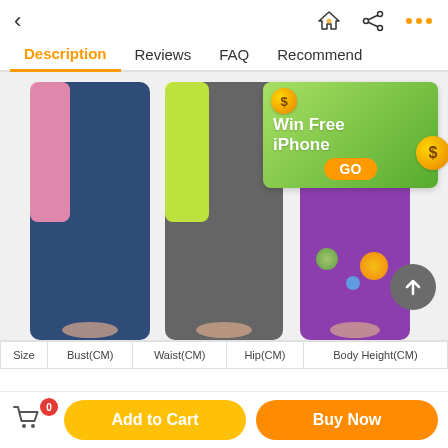< [back] [home icon] [share icon] [more icon]
Description | Reviews | FAQ | Recommend
[Figure (photo): Three children wearing full-body wetsuits in blue/pink, grey/yellow-green, and purple/teal colors, standing barefoot. Overlaid with a 'Win Free iPhone GO' advertisement banner with gold coins and bubbles.]
| Size | Bust(CM) | Waist(CM) | Hip(CM) | Body Height(CM) |
| --- | --- | --- | --- | --- |
0 [cart icon]  Add to Cart  Buy Now